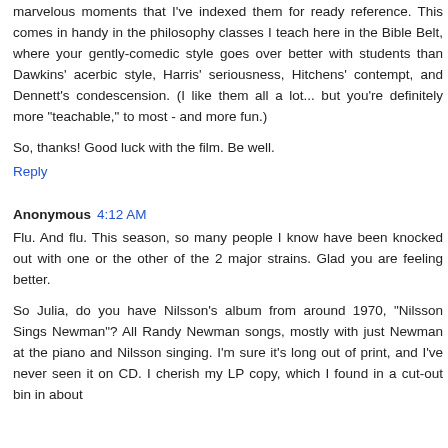marvelous moments that I've indexed them for ready reference. This comes in handy in the philosophy classes I teach here in the Bible Belt, where your gently-comedic style goes over better with students than Dawkins' acerbic style, Harris' seriousness, Hitchens' contempt, and Dennett's condescension. (I like them all a lot... but you're definitely more "teachable," to most - and more fun.)
So, thanks! Good luck with the film. Be well.
Reply
Anonymous 4:12 AM
Flu. And flu. This season, so many people I know have been knocked out with one or the other of the 2 major strains. Glad you are feeling better.
So Julia, do you have Nilsson's album from around 1970, "Nilsson Sings Newman"? All Randy Newman songs, mostly with just Newman at the piano and Nilsson singing. I'm sure it's long out of print, and I've never seen it on CD. I cherish my LP copy, which I found in a cut-out bin in about